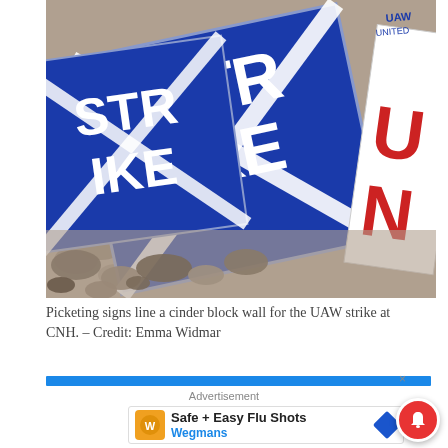[Figure (photo): Close-up photo of UAW strike picketing signs leaning against a cinder block wall, showing blue and white 'STRIKE' signs and a white sign with red 'UN' text, with gravel/rocks visible in the foreground.]
Picketing signs line a cinder block wall for the UAW strike at CNH. – Credit: Emma Widmar
[Figure (other): Blue banner advertisement bar]
Advertisement
[Figure (other): Advertisement for Safe + Easy Flu Shots at Wegmans, showing the Wegmans logo, text, and a navigation icon.]